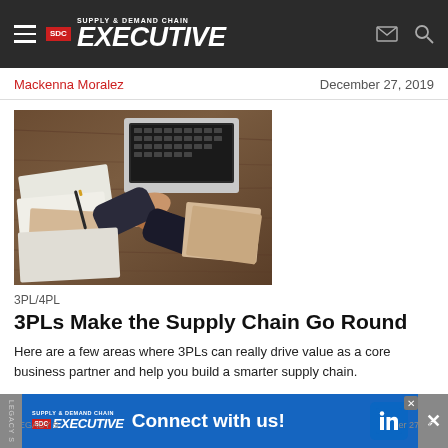Supply & Demand Chain Executive — SDC EXECUTIVE
Mackenna Moralez
December 27, 2019
[Figure (photo): Overhead aerial view of two people shaking hands across a wooden table covered with documents, papers, and a laptop keyboard. Business partnership meeting concept.]
3PL/4PL
3PLs Make the Supply Chain Go Round
Here are a few areas where 3PLs can really drive value as a core business partner and help you build a smarter supply chain.
[Figure (infographic): Advertisement banner: Supply & Demand Chain Executive LinkedIn connect banner with blue background. Text reads 'Connect with us!' with LinkedIn logo icon. Close button on right.]